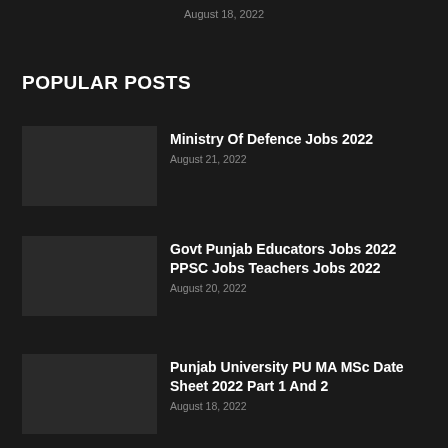August 18, 2022
POPULAR POSTS
Ministry Of Defence Jobs 2022
August 21, 2022
Govt Punjab Educators Jobs 2022 PPSC Jobs Teachers Jobs 2022
August 20, 2022
Punjab University PU MA MSc Date Sheet 2022 Part 1 And 2
August 18, 2022